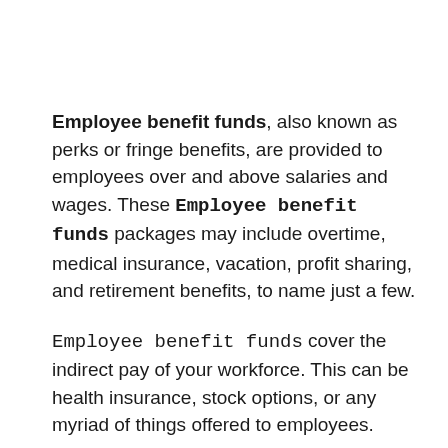Employee benefit funds, also known as perks or fringe benefits, are provided to employees over and above salaries and wages. These Employee benefit funds packages may include overtime, medical insurance, vacation, profit sharing, and retirement benefits, to name just a few.
Employee benefit funds cover the indirect pay of your workforce. This can be health insurance, stock options, or any myriad of things offered to employees.